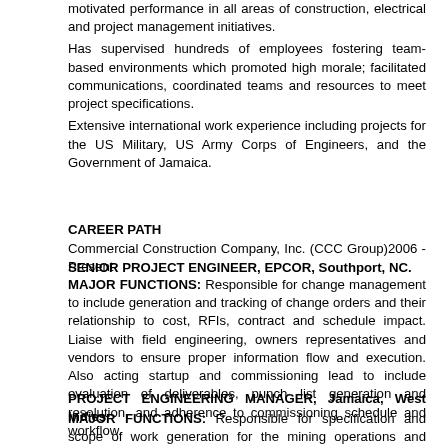motivated performance in all areas of construction, electrical and project management initiatives.
Has supervised hundreds of employees fostering team-based environments which promoted high morale; facilitated communications, coordinated teams and resources to meet project specifications.
Extensive international work experience including projects for the US Military, US Army Corps of Engineers, and the Government of Jamaica.
CAREER PATH
Commercial Construction Company, Inc. (CCC Group)2006 - Present
SENIOR PROJECT ENGINEER, EPCOR, Southport, NC.
MAJOR FUNCTIONS: Responsible for change management to include generation and tracking of change orders and their relationship to cost, RFIs, contract and schedule impact. Liaise with field engineering, owners representatives and vendors to ensure proper information flow and execution. Also acting startup and commissioning lead to include evaluation of deliverables, punch list generation and resolution, and adherence to commissioning schedule and workflow.
PROJECT ENGINEERING MANAGER, Jamaica, West Indies
MAJOR FUNCTIONS: Responsible for specification and scope of work generation for the mining operations and construction component Alcoa World Wide Aluminum; schedule deliverables and ensure seamless communications between Management and engineering in the...